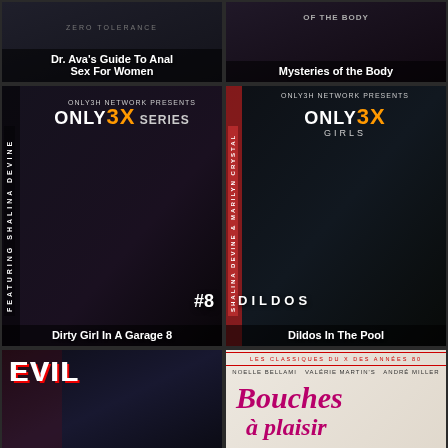[Figure (photo): DVD cover: Dr. Ava's Guide To Anal Sex For Women, Zero Tolerance label]
[Figure (photo): DVD cover: Mysteries of the Body]
[Figure (photo): DVD cover: Only3H Network Presents Only 3X Series - Dirty Girl In A Garage 8, featuring Shalina Devine]
[Figure (photo): DVD cover: Only3H Network Presents Only 3X Girls - Dildos In The Pool, featuring Shalina Devine & Marilyn Crystal]
[Figure (photo): DVD cover: Evil Angel production featuring multiple performers]
[Figure (photo): DVD cover: Bouches à plaisir - Les Classiques du X des Années 80, starring Noelle Bellami, Valérie Martin's, André Miller]